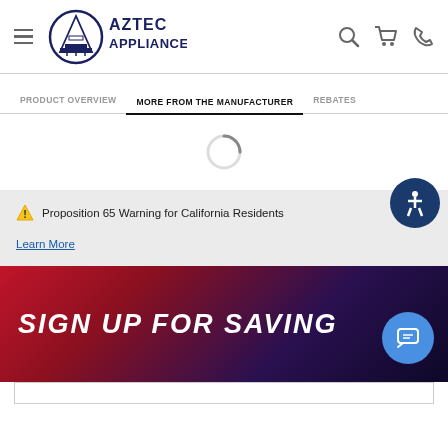Aztec Appliance
MORE FROM THE MANUFACTURER
[Figure (other): Loading spinner circle]
⚠ Proposition 65 Warning for California Residents
Learn More
SIGN UP FOR SAVING